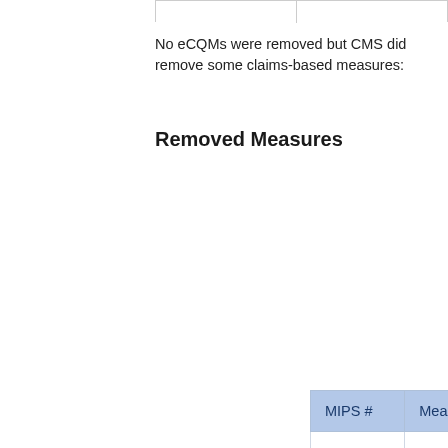No eCQMs were removed but CMS did remove some claims-based measures:
Removed Measures
| MIPS # | Measure Description |
| --- | --- |
| 14 | Age-Related Macular Degene… Part B Claims type only |
| 21 | Perioperative Care: Selection o… Cephalosporin |
| 23 | Perioperative Care: Venous Th… ALL Patients) |
| 44 | Coronary Artery Bypass Graft o… |